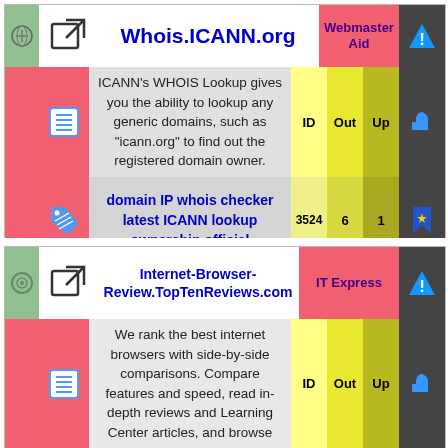[Figure (infographic): Card 1: Whois.ICANN.org entry with Webmaster Aid label, description text, ID/Out/Up columns, and keyword tags showing 3524/6/1]
[Figure (infographic): Card 2: Internet-Browser-Review.TopTenReviews.com entry with IT Express label, description about ranking browsers, and ID/Out/Up columns]